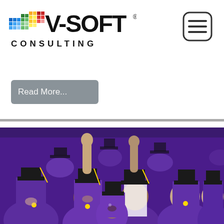[Figure (logo): V-SOFT Consulting logo with colorful pixel/dot pattern on the left and bold black V-SOFT text with registered trademark symbol, CONSULTING in spaced capitals below]
[Figure (other): Hamburger menu icon: rounded rectangle border with three horizontal lines inside]
Read More...
[Figure (photo): Group of graduates in purple robes and black mortarboard caps celebrating, raising fists and smiling]